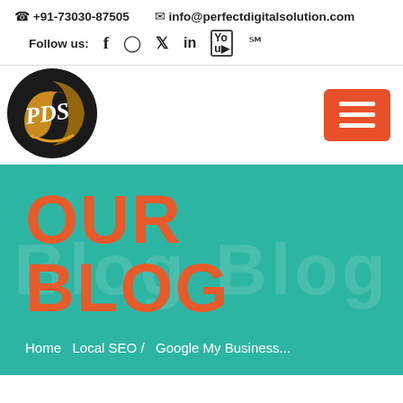☎ +91-73030-87505   ✉ info@perfectdigitalsolution.com
Follow us: f  ○  🐦  in  yt  ℗
[Figure (logo): PDS circular logo with gold crescent and white cursive text on black background]
[Figure (other): Orange hamburger menu button with three white horizontal lines]
OUR BLOG
Home  Local SEO /  Google My Business...